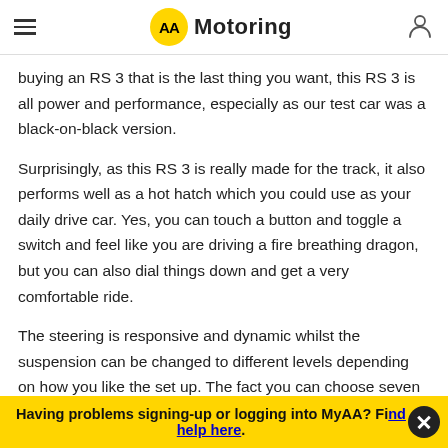AA Motoring
buying an RS 3 that is the last thing you want, this RS 3 is all power and performance, especially as our test car was a black-on-black version.
Surprisingly, as this RS 3 is really made for the track, it also performs well as a hot hatch which you could use as your daily drive car. Yes, you can touch a button and toggle a switch and feel like you are driving a fire breathing dragon, but you can also dial things down and get a very comfortable ride.
The steering is responsive and dynamic whilst the suspension can be changed to different levels depending on how you like the set up. The fact you can choose seven
Having problems signing-up or logging into MyAA? Find help here.